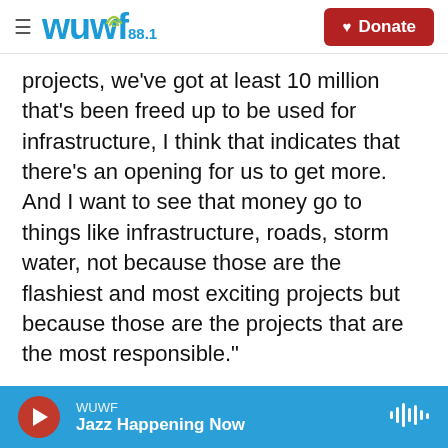WUWF 88.1 — Donate
projects, we've got at least 10 million that's been freed up to be used for infrastructure, I think that indicates that there's an opening for us to get more. And I want to see that money go to things like infrastructure, roads, storm water, not because those are the flashiest and most exciting projects but because those are the projects that are the most responsible."
The final candidate running in the district is Henry Kelley.  An Army veteran of Desert Storm, Kelley has a background in the tourism industry and is currently a professor at Florida Institute of
WUWF — Jazz Happening Now